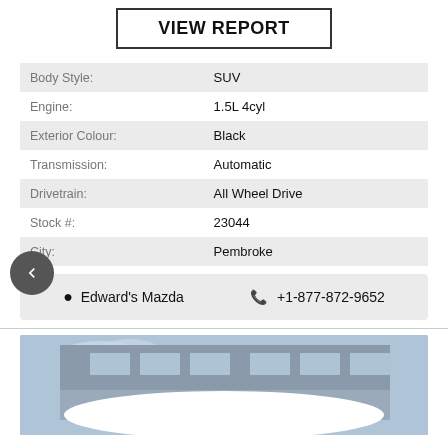VIEW REPORT
| Field | Value |
| --- | --- |
| Body Style: | SUV |
| Engine: | 1.5L 4cyl |
| Exterior Colour: | Black |
| Transmission: | Automatic |
| Drivetrain: | All Wheel Drive |
| Stock #: | 23044 |
| City: | Pembroke |
Edward's Mazda  +1-877-872-9652
[Figure (photo): Exterior photo of Edward's Mazda dealership building with Mazda logo sign reading 'mazda Edwards']